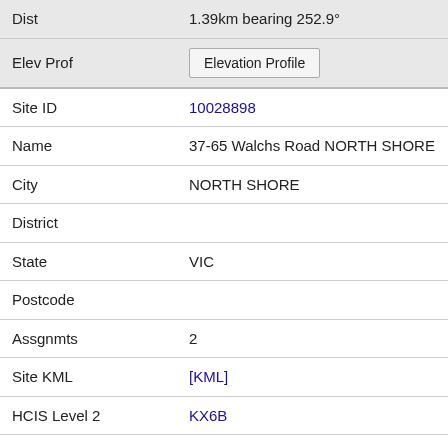| Dist | 1.39km bearing 252.9° |
| Elev Prof | [Elevation Profile button] |
| Site ID | 10028898 |
| Name | 37-65 Walchs Road NORTH SHORE |
| City | NORTH SHORE |
| District |  |
| State | VIC |
| Postcode |  |
| Assgnmts | 2 |
| Site KML | [KML] |
| HCIS Level 2 | KX6B |
| Dist | 1.40km bearing 5.9° |
| Elev Prof | [Elevation Profile button] |
| Site ID | 301542 |
| Name | Conveyor Roof Vicgrain Bulk Wharf GEELONG NORTH |
| City | GEELONG NORTH |